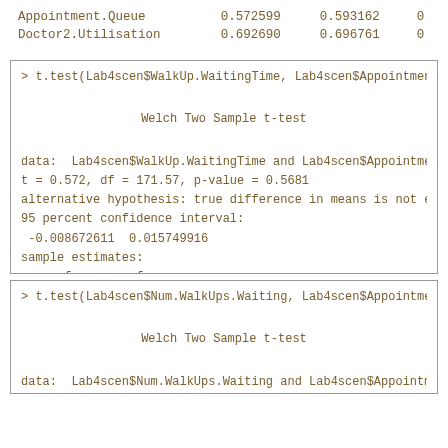|  |  |  |  |
| --- | --- | --- | --- |
| Appointment.Queue | 0.572599 | 0.593162 | 0 |
| Doctor2.Utilisation | 0.692690 | 0.696761 | 0 |
> t.test(Lab4scen$WalkUp.WaitingTime, Lab4scen$Appointment.Wai

        Welch Two Sample t-test

data:  Lab4scen$WalkUp.WaitingTime and Lab4scen$Appointment.Wa
t = 0.572, df = 171.57, p-value = 0.5681
alternative hypothesis: true difference in means is not equal
95 percent confidence interval:
 -0.008672611  0.015749916
sample estimates:
mean of x mean of y
0.2043972 0.2008585
> t.test(Lab4scen$Num.WalkUps.Waiting, Lab4scen$Appointment.Qu

        Welch Two Sample t-test

data:  Lab4scen$Num.WalkUps.Waiting and Lab4scen$Appointment.Q